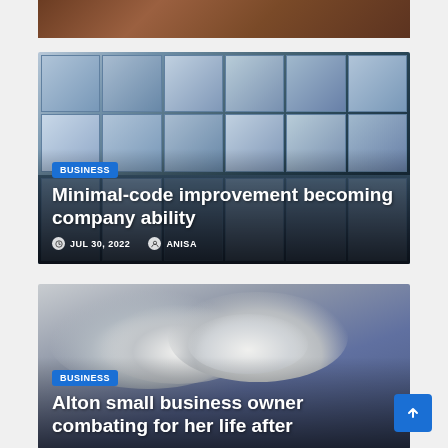[Figure (photo): Cropped top portion of a photo with warm brown/amber tones, partially visible at top of page]
[Figure (photo): Office building exterior showing multiple floors of windows with people working inside, blue-grey tones]
BUSINESS
Minimal-code improvement becoming company ability
JUL 30, 2022   ANISA
[Figure (photo): Dramatic storm clouds in grey and white tones, dark sky background]
BUSINESS
Alton small business owner combating for her life after